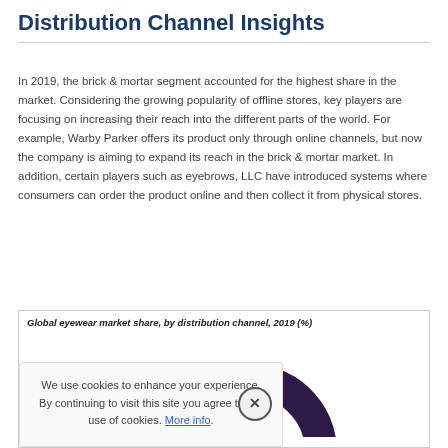Distribution Channel Insights
In 2019, the brick & mortar segment accounted for the highest share in the market. Considering the growing popularity of offline stores, key players are focusing on increasing their reach into the different parts of the world. For example, Warby Parker offers its product only through online channels, but now the company is aiming to expand its reach in the brick & mortar market. In addition, certain players such as eyebrows, LLC have introduced systems where consumers can order the product online and then collect it from physical stores.
[Figure (donut-chart): Partially visible donut chart showing distribution channel share for global eyewear market 2019. Large dark purple (navy) arc dominates, with a small cyan/light blue slice visible near the top.]
We use cookies to enhance your experience. By continuing to visit this site you agree to our use of cookies. More info.